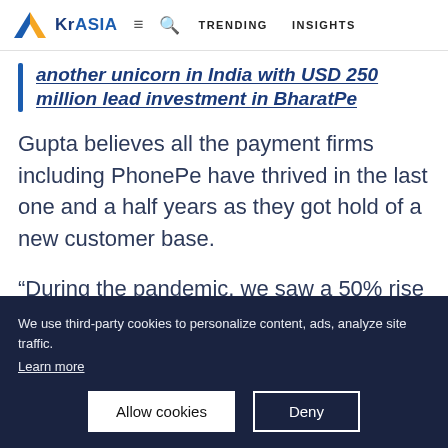KrASIA  ≡  🔍  TRENDING  INSIGHTS
another unicorn in India with USD 250 million lead investment in BharatPe
Gupta believes all the payment firms including PhonePe have thrived in the last one and a half years as they got hold of a new customer base.
“During the pandemic, we saw a 50% rise
We use third-party cookies to personalize content, ads, analyze site traffic.
Learn more
Allow cookies  Deny